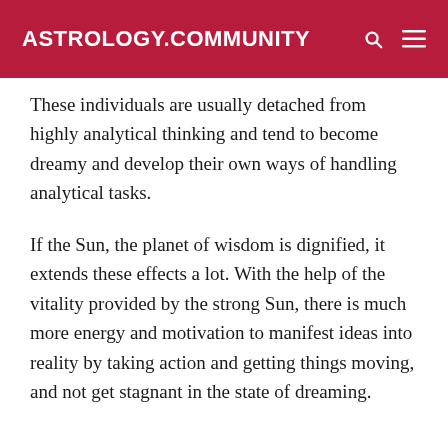ASTROLOGY.COMMUNITY
These individuals are usually detached from highly analytical thinking and tend to become dreamy and develop their own ways of handling analytical tasks.
If the Sun, the planet of wisdom is dignified, it extends these effects a lot. With the help of the vitality provided by the strong Sun, there is much more energy and motivation to manifest ideas into reality by taking action and getting things moving, and not get stagnant in the state of dreaming.